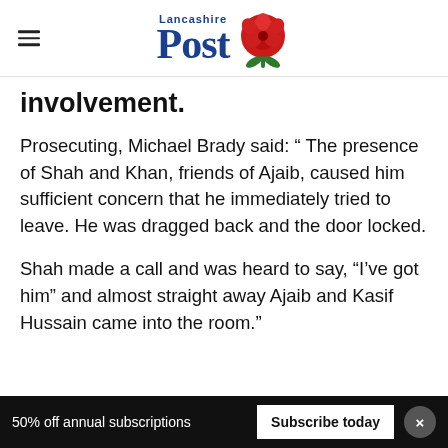Lancashire Post
involvement.
Prosecuting, Michael Brady said: “ The presence of Shah and Khan, friends of Ajaib, caused him sufficient concern that he immediately tried to leave. He was dragged back and the door locked.
Shah made a call and was heard to say, “I’ve got him” and almost straight away Ajaib and Kasif Hussain came into the room.”
50% off annual subscriptions   Subscribe today   ×